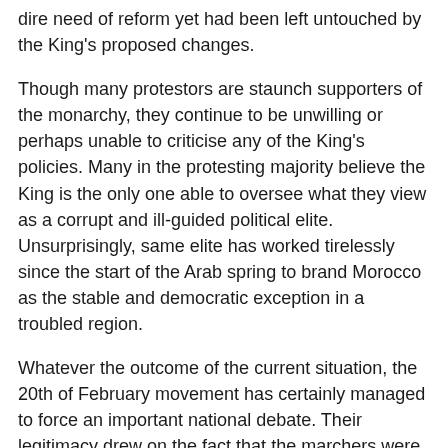dire need of reform yet had been left untouched by the King's proposed changes.
Though many protestors are staunch supporters of the monarchy, they continue to be unwilling or perhaps unable to criticise any of the King's policies. Many in the protesting majority believe the King is the only one able to oversee what they view as a corrupt and ill-guided political elite. Unsurprisingly, same elite has worked tirelessly since the start of the Arab spring to brand Morocco as the stable and democratic exception in a troubled region.
Whatever the outcome of the current situation, the 20th of February movement has certainly managed to force an important national debate. Their legitimacy drew on the fact that the marchers were the first to publicly articulate what most Moroccans thought privately. In shattering the traditional wall of fear and silence, the 20th of February movement has already achieved a great deal.
This evolution is an important one, its consequences are